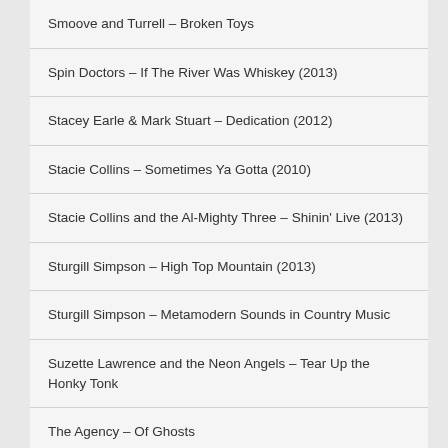Smoove and Turrell – Broken Toys
Spin Doctors – If The River Was Whiskey (2013)
Stacey Earle & Mark Stuart – Dedication (2012)
Stacie Collins – Sometimes Ya Gotta (2010)
Stacie Collins and the Al-Mighty Three – Shinin' Live (2013)
Sturgill Simpson – High Top Mountain (2013)
Sturgill Simpson – Metamodern Sounds in Country Music
Suzette Lawrence and the Neon Angels – Tear Up the Honky Tonk
The Agency – Of Ghosts